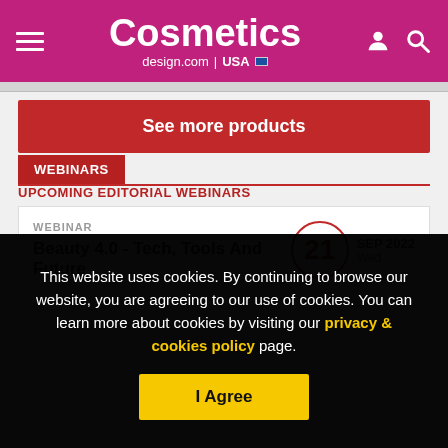Cosmetics design.com | USA
See more products
WEBINARS
UPCOMING EDITORIAL WEBINARS
WEBINAR
Beauty 4.0 - Tech, Tools And Future
21 SEP 2022 Wed
This website uses cookies. By continuing to browse our website, you are agreeing to our use of cookies. You can learn more about cookies by visiting our privacy & cookies policy page.
I Agree